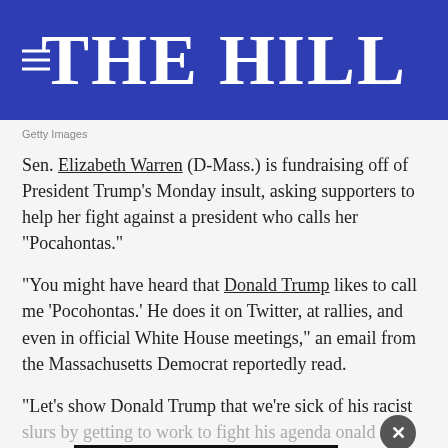THE HILL
Getty Images
Sen. Elizabeth Warren (D-Mass.) is fundraising off of President Trump's Monday insult, asking supporters to help her fight against a president who calls her “Pocahontas.”
“You might have heard that Donald Trump likes to call me ‘Pocohontas.’ He does it on Twitter, at rallies, and even in official White House meetings,” an email from the Massachusetts Democrat reportedly read.
“Let’s show Donald Trump that we’re sick of his racist slurs by getting to work to fight his agenda Ronald Trump… going…